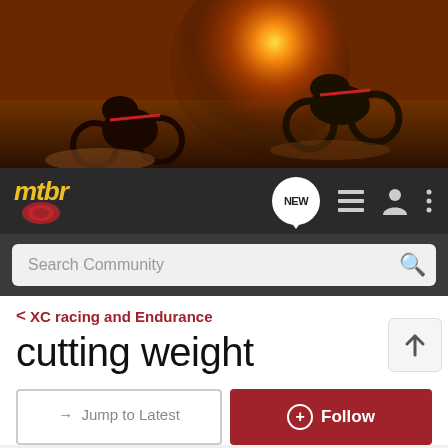[Figure (photo): Two mountain bikers riding downhill on dirt trail with sunset/sunburst in background, action shot with warm orange tones]
[Figure (logo): mtbr logo - yellow italic text 'mtbr' with red circular shield/emblem below]
Search Community
XC racing and Endurance
cutting weight
→  Jump to Latest
+ Follow
REVIEWS  DEALS  BIKESHOPS  TRAILS